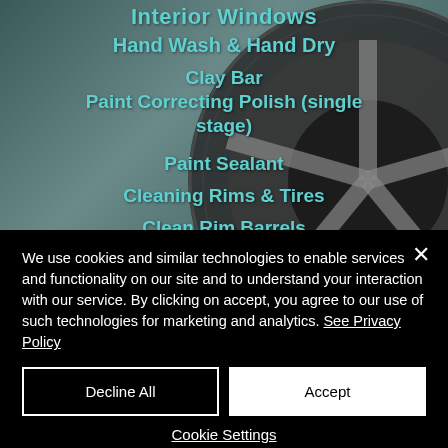[Figure (photo): Car wheel/tire close-up photo with overlaid text listing car detailing services: Interior Windows, Hand Wash & Hand Dry, Clay Bar, Paint Correcting Polish (single stage), Paint Sealant, Cleaning Rims & Tires, Clean Rim Barrels. Text is in teal/cyan color on the photo background.]
We use cookies and similar technologies to enable services and functionality on our site and to understand your interaction with our service. By clicking on accept, you agree to our use of such technologies for marketing and analytics. See Privacy Policy
Decline All
Accept
Cookie Settings